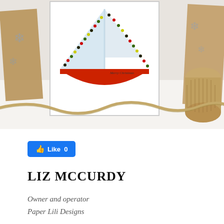[Figure (photo): A photograph showing a Christmas greeting card featuring a painted sailboat with a red hull and dotted lights along the rigging, surrounded by kraft paper and a jute twine spool on a white surface.]
[Figure (other): Facebook Like button showing 'Like 0']
LIZ MCCURDY
Owner and operator
Paper Lili Designs